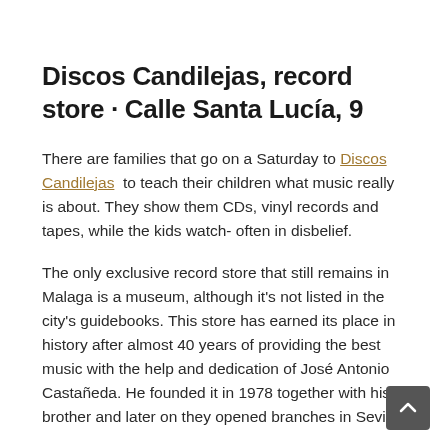Discos Candilejas, record store · Calle Santa Lucía, 9
There are families that go on a Saturday to Discos Candilejas to teach their children what music really is about. They show them CDs, vinyl records and tapes, while the kids watch- often in disbelief.
The only exclusive record store that still remains in Malaga is a museum, although it's not listed in the city's guidebooks. This store has earned its place in history after almost 40 years of providing the best music with the help and dedication of José Antonio Castañeda. He founded it in 1978 together with his brother and later on they opened branches in Seville